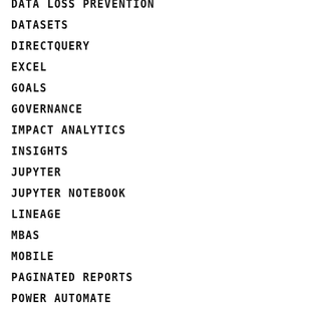DATA LOSS PREVENTION
DATASETS
DIRECTQUERY
EXCEL
GOALS
GOVERNANCE
IMPACT ANALYTICS
INSIGHTS
JUPYTER
JUPYTER NOTEBOOK
LINEAGE
MBAS
MOBILE
PAGINATED REPORTS
POWER AUTOMATE